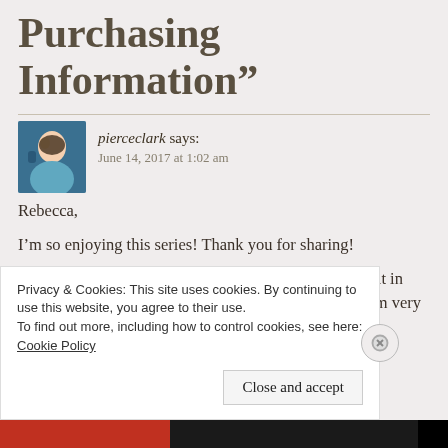Purchasing Information”
pierceclark says:
June 14, 2017 at 1:02 am
Rebecca,

I’m so enjoying this series! Thank you for sharing!

Could you consider doing a short demo and including it in one of your upcoming posts about this series? What I’m very interested in is HOW do you soften your edges?
Privacy & Cookies: This site uses cookies. By continuing to use this website, you agree to their use.
To find out more, including how to control cookies, see here: Cookie Policy
Close and accept